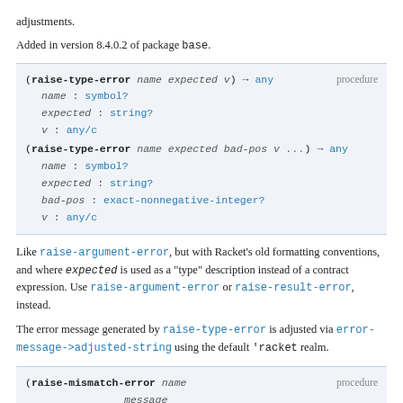adjustments.
Added in version 8.4.0.2 of package base.
(raise-type-error name expected v) → any  procedure
  name : symbol?
  expected : string?
  v : any/c
(raise-type-error name expected bad-pos v ...) → any
  name : symbol?
  expected : string?
  bad-pos : exact-nonnegative-integer?
  v : any/c
Like raise-argument-error, but with Racket's old formatting conventions, and where expected is used as a "type" description instead of a contract expression. Use raise-argument-error or raise-result-error, instead.
The error message generated by raise-type-error is adjusted via error-message->adjusted-string using the default 'racket realm.
(raise-mismatch-error name
                       message
                       v ...+
                       ...+) → any  procedure
  name : symbol?